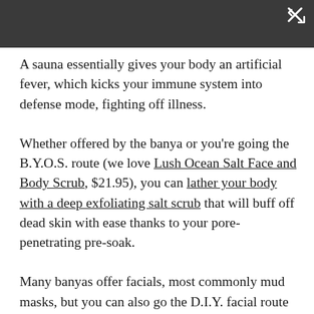A sauna essentially gives your body an artificial fever, which kicks your immune system into defense mode, fighting off illness.
Whether offered by the banya or you're going the B.Y.O.S. route (we love Lush Ocean Salt Face and Body Scrub, $21.95), you can lather your body with a deep exfoliating salt scrub that will buff off dead skin with ease thanks to your pore-penetrating pre-soak.
Many banyas offer facials, most commonly mud masks, but you can also go the D.I.Y. facial route and take